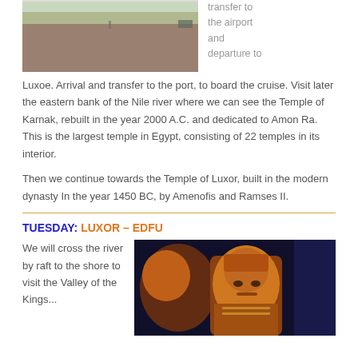[Figure (photo): Wide photo of an open plaza or courtyard, brownish ground, buildings in background]
transfer to the airport and departure to
Luxoe. Arrival and transfer to the port, to board the cruise. Visit later the eastern bank of the Nile river where we can see the Temple of Karnak, rebuilt in the year 2000 A.C. and dedicated to Amon Ra. This is the largest temple in Egypt, consisting of 22 temples in its interior.
Then we continue towards the Temple of Luxor, built in the modern dynasty In the year 1450 BC, by Amenofis and Ramses II.
TUESDAY: LUXOR – EDFU
We will cross the river by raft to the shore to visit the Valley of the Kings...
[Figure (photo): Dark-toned photo of illuminated Egyptian pharaoh statues or sphinxes lit in orange/amber against a dark blue background]